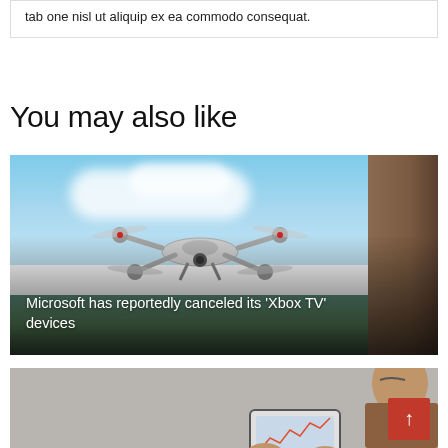tab one nisl ut aliquip ex ea commodo consequat.
You may also like
[Figure (photo): Drone flying outdoors over water with tree on right side, image card with text overlay reading 'Microsoft has reportedly canceled its 'Xbox TV' devices']
Microsoft has reportedly canceled its 'Xbox TV' devices
[Figure (photo): Person using a tablet outdoors, second article card, partially visible]